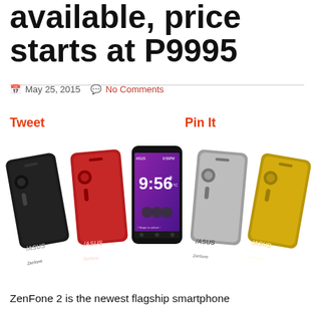available, price starts at P9995
May 25, 2015   No Comments
Tweet    Pin It
[Figure (photo): Five ASUS ZenFone 2 smartphones shown in different colors: black, red, front-facing showing lock screen at 9:56, silver, and gold. All phones display the ASUS logo and Intel inside branding.]
ZenFone 2 is the newest flagship smartphone